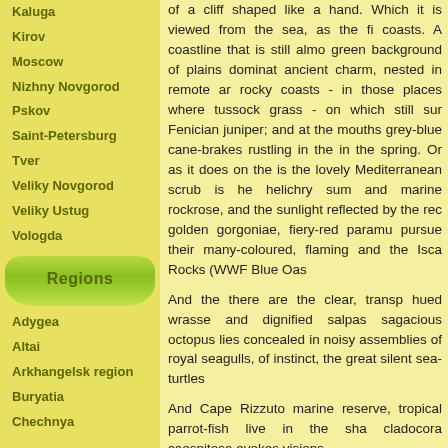Kaluga
Kirov
Moscow
Nizhny Novgorod
Pskov
Saint-Petersburg
Tver
Veliky Novgorod
Veliky Ustug
Vologda
Regions
Adygea
Altai
Arkhangelsk region
Buryatia
Chechnya
of a cliff shaped like a hand. Which it is viewed from the sea, as the fi coasts. A coastline that is still almo green background of plains dominat ancient charm, nested in remote ar rocky coasts - in those places where tussock grass - on which still sur Fenician juniper; and at the mouths grey-blue cane-brakes rustling in the in the spring. Or as it does on the is the lovely Mediterranean scrub is he helichry sum and marine rockrose, and the sunlight reflected by the rec golden gorgoniae, fiery-red paramu pursue their many-coloured, flaming and the Isca Rocks (WWF Blue Oas
And the there are the clear, transp hued wrasse and dignified salpas sagacious octopus lies concealed in noisy assemblies of royal seagulls, of instinct, the great silent sea-turtle
And Cape Rizzuto marine reserve, tropical parrot-fish live in the sha cladocora caespitosa evokes visions